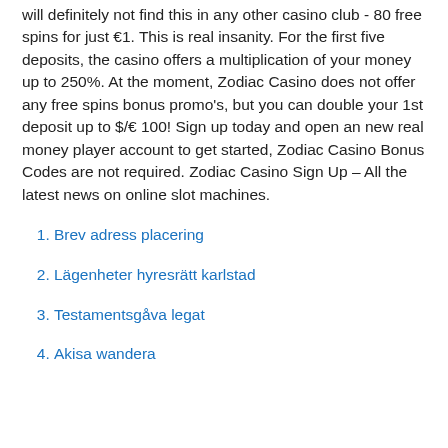will definitely not find this in any other casino club - 80 free spins for just €1. This is real insanity. For the first five deposits, the casino offers a multiplication of your money up to 250%. At the moment, Zodiac Casino does not offer any free spins bonus promo's, but you can double your 1st deposit up to $/€ 100! Sign up today and open an new real money player account to get started, Zodiac Casino Bonus Codes are not required. Zodiac Casino Sign Up – All the latest news on online slot machines.
Brev adress placering
Lägenheter hyresrätt karlstad
Testamentsgåva legat
Akisa wandera